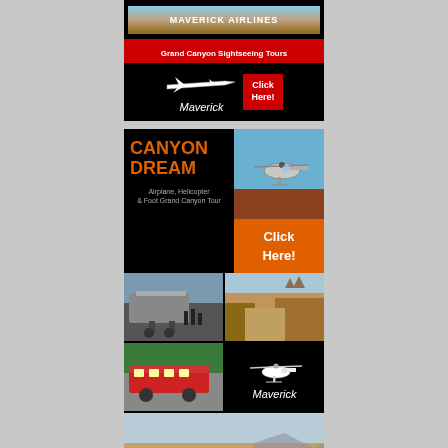[Figure (advertisement): Maverick Airlines Grand Canyon Sightseeing Tours advertisement with logo, red 'Click Here!' button on black background]
[Figure (advertisement): Canyon Dream - Airplane, Helicopter & Foot Grand Canyon Tour advertisement with helicopter photo, orange Click Here button, multiple Grand Canyon and tour photos, and Maverick logo]